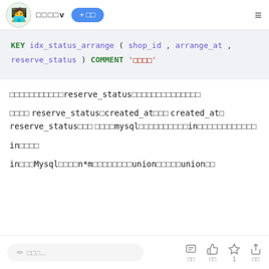□□□□v  + □□  ≡
KEY idx_status_arrange ( shop_id , arrange_at , reserve_status ) COMMENT '□□□□'
□□□□□□□□□□□reserve_status□□□□□□□□□□□□□□
□□□□ reserve_status□created_at□□□ created_at□ reserve_status□□□ □□□□mysql□□□□□□□□□□in□□□□□□□□□□□□
in□□□□
in□□□Mysql□□□□n*m□□□□□□□□union□□□□□union□□
✎ □□□...   □ □□  □ □□  ☆ 1  □ □□